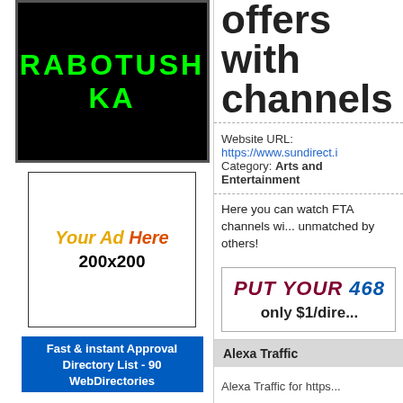[Figure (logo): Black background logo with green text reading RABOTUSHKA in bold uppercase letters]
[Figure (infographic): Ad placeholder box with 'Your Ad Here 200x200' text]
Fast & instant Approval Directory List - 90 WebDirectories
offers with channels
Website URL: https://www.sundirect.i...
Category: Arts and Entertainment
Here you can watch FTA channels wi... unmatched by others!
PUT YOUR 46... only $1/dire...
Alexa Traffic
Alexa Traffic for https...